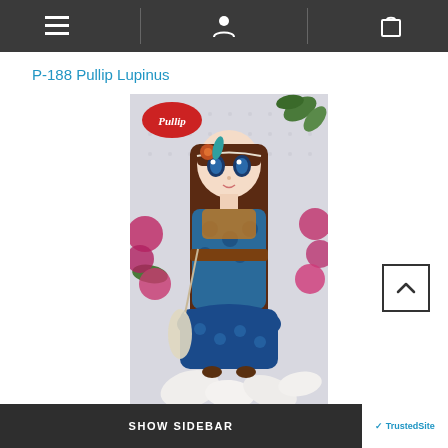Navigation bar with menu, user, and cart icons
P-188 Pullip Lupinus
[Figure (photo): Product photo of Pullip Lupinus doll (P-188) wearing a boho-style outfit with blue patterned dress, long brown hair, flower and feather headband accessories, holding a feather bag, surrounded by flowers in the background. Pullip logo in top-left corner of image.]
SHOW SIDEBAR | TrustedSite